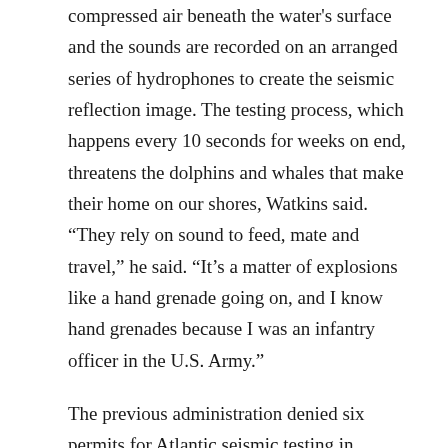compressed air beneath the water's surface and the sounds are recorded on an arranged series of hydrophones to create the seismic reflection image. The testing process, which happens every 10 seconds for weeks on end, threatens the dolphins and whales that make their home on our shores, Watkins said. “They rely on sound to feed, mate and travel,” he said. “It’s a matter of explosions like a hand grenade going on, and I know hand grenades because I was an infantry officer in the U.S. Army.”
The previous administration denied six permits for Atlantic seismic testing in January, but the companies reapplied under new federal leadership. Business Alliance for Protecting the Atlantic Coast and South Carolina Environmental Law Project have filed appeals with the Bureau of Ocean Energy Management to stop the permits.
“Scientific studies have shown that seismic blasting injures and drives away marine life, including marketable fish species, which the 500,000 commercial fishing families in BAPAC rely upon for